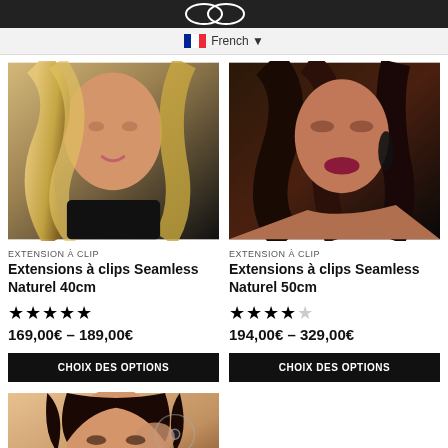French
[Figure (photo): Woman with long blonde wavy hair wearing black top]
EXTENSION À CLIP
Extensions à clips Seamless Naturel 40cm
★★★★★ 169,00€ – 189,00€
CHOIX DES OPTIONS
[Figure (photo): Woman with long dark wavy hair and red lipstick wearing black top]
EXTENSION À CLIP
Extensions à clips Seamless Naturel 50cm
★★★★★ 194,00€ – 329,00€
CHOIX DES OPTIONS
[Figure (photo): Woman with dark wavy hair on beige background]